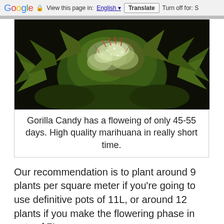Google  View this page in: English  Translate  Turn off for: S
[Figure (photo): Close-up macro photo of a cannabis flower (Gorilla Candy strain) with crystalline trichomes, green buds and leaves against a dark background.]
Gorilla Candy has a floweing of only 45-55 days. High quality marihuana in really short time.
Our recommendation is to plant around 9 plants per square meter if you’re going to use definitive pots of 11L, or around 12 plants if you make the flowering phase in pots of 7L.
It produces around 550-600 gramos per square meter depending of the media and growing conditions.
Gorilla Candy